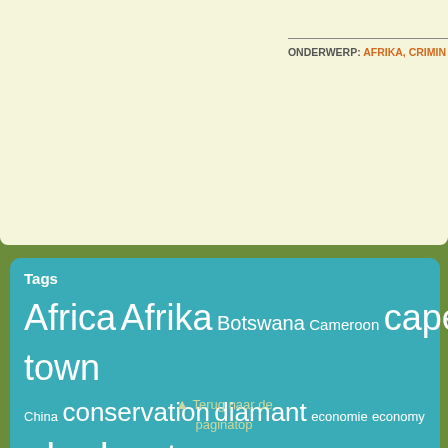ONDERWERP: AFRIKA, CRIMIN...
Tags
Africa Afrika Botswana Cameroon cape town China conservation diamant economie economy elephant gorilla hoorn ivoor ivory Johannesburg kaapstad Kameroen Kenia Kenya lion neushoorn olifant poachers poaching reizen research Rhino Shimansky South Africa Stellenbosch stropen stropers Tanzania toerisme tourism travel Uganda wijn wildlife wine zambia ziekte Zimbabwe zuid-afrika
Terug naar de paginatop